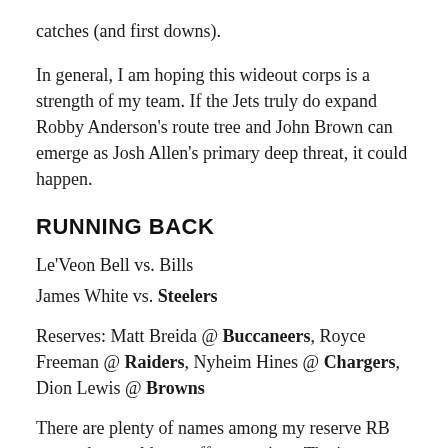catches (and first downs).
In general, I am hoping this wideout corps is a strength of my team. If the Jets truly do expand Robby Anderson's route tree and John Brown can emerge as Josh Allen's primary deep threat, it could happen.
RUNNING BACK
Le'Veon Bell vs. Bills
James White vs. Steelers
Reserves: Matt Breida @ Buccaneers, Royce Freeman @ Raiders, Nyheim Hines @ Chargers, Dion Lewis @ Browns
There are plenty of names among my reserve RB group that could pop off at any time. The issue might